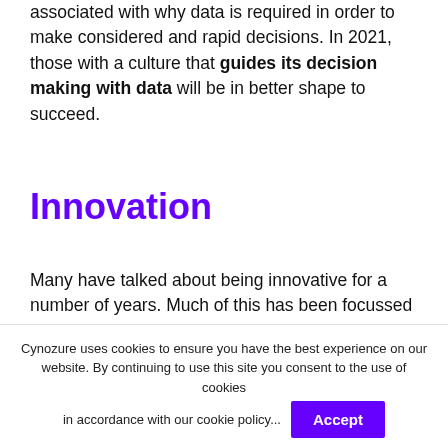associated with why data is required in order to make considered and rapid decisions. In 2021, those with a culture that guides its decision making with data will be in better shape to succeed.
Innovation
Many have talked about being innovative for a number of years. Much of this has been focussed around digital innovation, and creating digital
Cynozure uses cookies to ensure you have the best experience on our website. By continuing to use this site you consent to the use of cookies in accordance with our cookie policy...